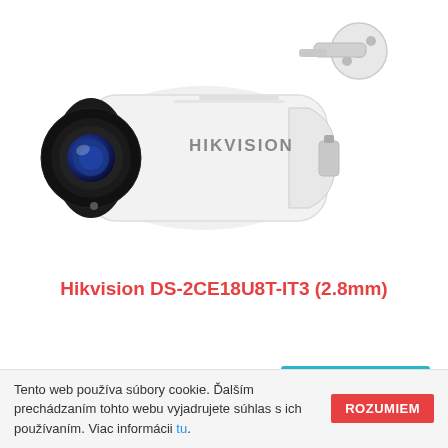[Figure (photo): Hikvision bullet security camera (white, model DS-2CE18U8T-IT3) with black lens and wall mounting bracket, shown on white background. HIKVISION logo visible on the camera body.]
Hikvision DS-2CE18U8T-IT3 (2.8mm)
€213,60
Do košíka
Tento web používa súbory cookie. Ďalším prechádzaním tohto webu vyjadrujete súhlas s ich používaním. Viac informácii tu. ROZUMIEM